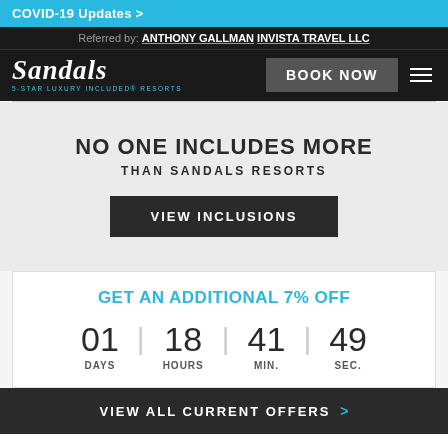COVID-19 Updates >
Referred by: ANTHONY GALLMAN INVISTA TRAVEL LLC
[Figure (logo): Sandals luxury included resorts logo with Book Now button and hamburger menu]
NO ONE INCLUDES MORE THAN SANDALS RESORTS
VIEW INCLUSIONS
GET AN ADDITIONAL 7% Off
01 DAYS 18 HOURS 41 MIN. 49 SEC.
VIEW ALL CURRENT OFFERS >